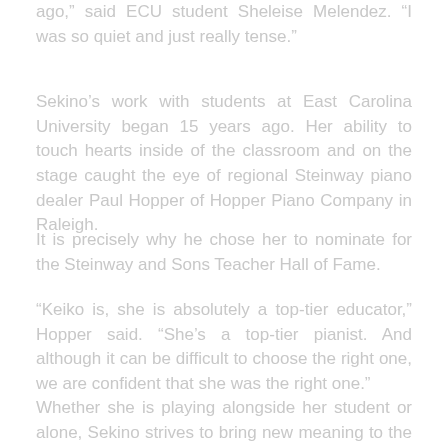ago,” said ECU student Sheleise Melendez. “I was so quiet and just really tense.”
Sekino’s work with students at East Carolina University began 15 years ago. Her ability to touch hearts inside of the classroom and on the stage caught the eye of regional Steinway piano dealer Paul Hopper of Hopper Piano Company in Raleigh.
It is precisely why he chose her to nominate for the Steinway and Sons Teacher Hall of Fame.
“Keiko is, she is absolutely a top-tier educator,” Hopper said. “She’s a top-tier pianist. And although it can be difficult to choose the right one, we are confident that she was the right one.”
Whether she is playing alongside her student or alone, Sekino strives to bring new meaning to the music she